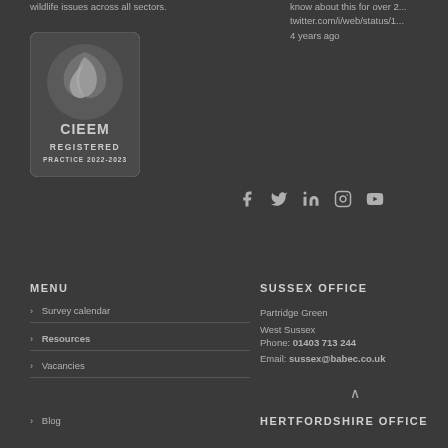wildlife issues across all sectors.
[Figure (logo): CIEEM Registered Practice 2022-2023 badge with leaf logo]
know about this for over 2... twitter.com/i/web/status/1... 4 years ago
[Figure (infographic): Social media icons: Facebook, Twitter, LinkedIn, Instagram, YouTube]
MENU
Survey calendar
Resources
Vacancies
Blog
SUSSEX OFFICE
Partridge Green
West Sussex
Phone: 01403 713 244
Email: sussex@babec.co.uk
HERTFORDSHIRE OFFICE